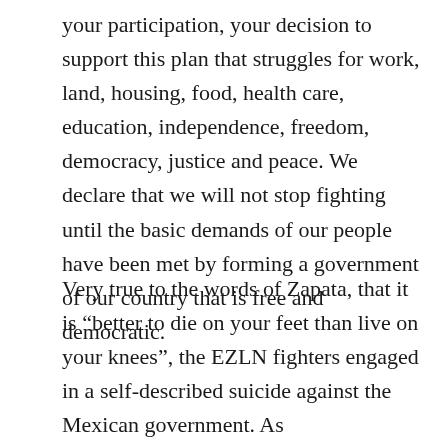your participation, your decision to support this plan that struggles for work, land, housing, food, health care, education, independence, freedom, democracy, justice and peace. We declare that we will not stop fighting until the basic demands of our people have been met by forming a government of our country that is free and democratic.
Very true to the words of Zapata, that it is “better to die on your feet than live on your knees”, the EZLN fighters engaged in a self-described suicide against the Mexican government. As Subcommandante Marcos, now known as Subcomandante Insurgente Galeano, the public